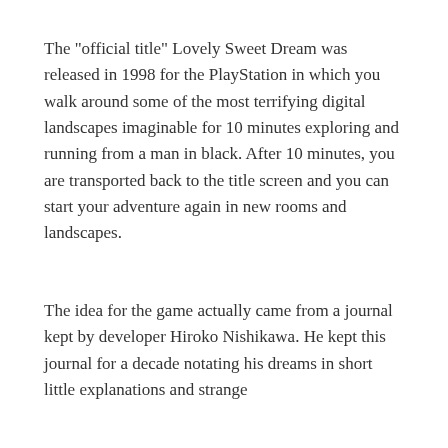The "official title" Lovely Sweet Dream was released in 1998 for the PlayStation in which you walk around some of the most terrifying digital landscapes imaginable for 10 minutes exploring and running from a man in black. After 10 minutes, you are transported back to the title screen and you can start your adventure again in new rooms and landscapes.
The idea for the game actually came from a journal kept by developer Hiroko Nishikawa. He kept this journal for a decade notating his dreams in short little explanations and strange